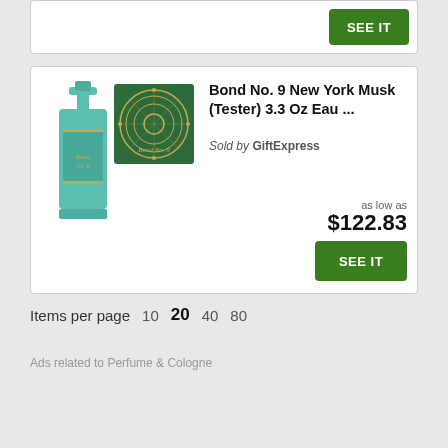[Figure (screenshot): Partial top product card with SEE IT green button visible at top of page]
[Figure (photo): Bond No. 9 New York Musk perfume bottle (teal/green) and square box with circular pattern]
Bond No. 9 New York Musk (Tester) 3.3 Oz Eau ...
Sold by GiftExpress
as low as $122.83
SEE IT
Items per page  10  20  40  80
Ads related to Perfume & Cologne